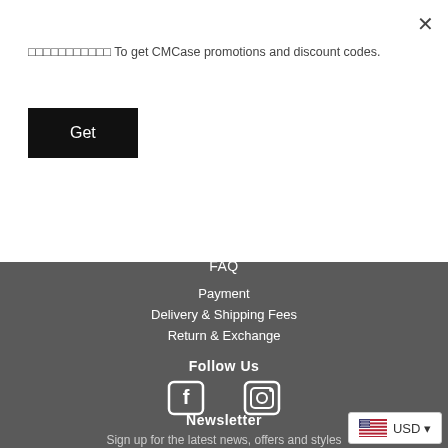🔔🔔🔔🔔🔔🔔🔔🔔🔔🔔🔔 To get CMCase promotions and discount codes.
Get
FAQ
Payment
Delivery & Shipping Fees
Return & Exchange
Follow Us
[Figure (illustration): Facebook and Instagram social media icons in white on dark grey background]
Newsletter
Sign up for the latest news, offers and styles
USD ▾